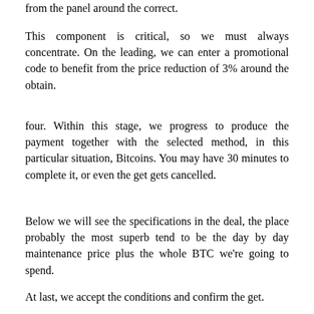from the panel around the correct.
This component is critical, so we must always concentrate. On the leading, we can enter a promotional code to benefit from the price reduction of 3% around the obtain.
four. Within this stage, we progress to produce the payment together with the selected method, in this particular situation, Bitcoins. You may have 30 minutes to complete it, or even the get gets cancelled.
Below we will see the specifications in the deal, the place probably the most superb tend to be the day by day maintenance price plus the whole BTC we're going to spend.
At last, we accept the conditions and confirm the get.